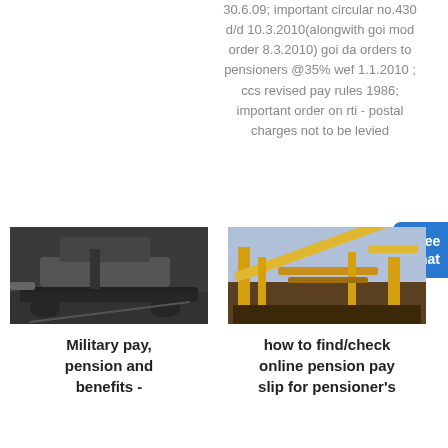30.6.09; important circular no.430 d/d 10.3.2010(alongwith goi mod order 8.3.2010) goi da orders to pensioners @35% wef 1.1.2010 ; ccs revised pay rules 1986; important order on rti - postal charges not to be levied
[Figure (other): Free chat button — blue rounded rectangle with a small person figure icon]
[Figure (photo): Photo of a large dark grey industrial mobile crusher/screening machine outdoors]
[Figure (photo): Photo of a yellow industrial conveyor/screening plant equipment outdoors]
Military pay, pension and benefits -
how to find/check online pension pay slip for pensioner's